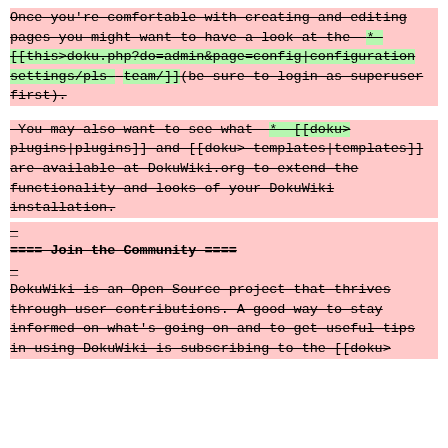Once you're comfortable with creating and editing pages you might want to have a look at the  * [[this>doku.php?do=admin&page=config|configuration settings/pls-team/]](be sure to login as superuser first).
You may also want to see what  * [[doku>plugins|plugins]] and [[doku>templates|templates]] are available at DokuWiki.org to extend the functionality and looks of your DokuWiki installation.
_
==== Join the Community ====
_
DokuWiki is an Open Source project that thrives through user contributions. A good way to stay informed on what's going on and to get useful tips in using DokuWiki is subscribing to the [[doku>